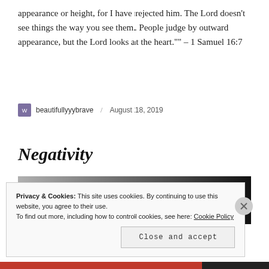appearance or height, for I have rejected him. The Lord doesn't see things the way you see them. People judge by outward appearance, but the Lord looks at the heart."" – 1 Samuel 16:7
beautifullyyybrave / August 18, 2019
Negativity
[Figure (photo): Grayscale photograph partially visible behind cookie consent banner]
Privacy & Cookies: This site uses cookies. By continuing to use this website, you agree to their use. To find out more, including how to control cookies, see here: Cookie Policy
Close and accept